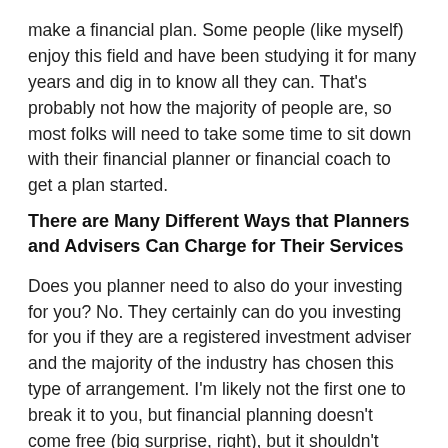make a financial plan. Some people (like myself) enjoy this field and have been studying it for many years and dig in to know all they can. That's probably not how the majority of people are, so most folks will need to take some time to sit down with their financial planner or financial coach to get a plan started.
There are Many Different Ways that Planners and Advisers Can Charge for Their Services
Does you planner need to also do your investing for you? No. They certainly can do you investing for you if they are a registered investment adviser and the majority of the industry has chosen this type of arrangement. I'm likely not the first one to break it to you, but financial planning doesn't come free (big surprise, right), but it shouldn't have to cost an exorbitant amount either. The industry's most common pricing model is that you turn over your assets to the firm and in return they provide you with financial planning advice and they also do your investing for you. In return they traditionally charge +/- 1% of the total assets under management each year. So, if you have $500,000 invested they would charge you $5,000 and so on.